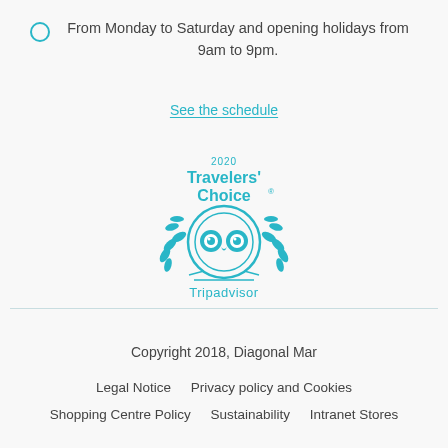From Monday to Saturday and opening holidays from 9am to 9pm.
See the schedule
[Figure (logo): TripAdvisor 2020 Travelers' Choice award logo in teal/cyan color, featuring an owl-like TripAdvisor symbol surrounded by laurel leaves, with text '2020 Travelers' Choice' above and 'Tripadvisor' below.]
Copyright 2018, Diagonal Mar
Legal Notice   Privacy policy and Cookies
Shopping Centre Policy   Sustainability   Intranet Stores